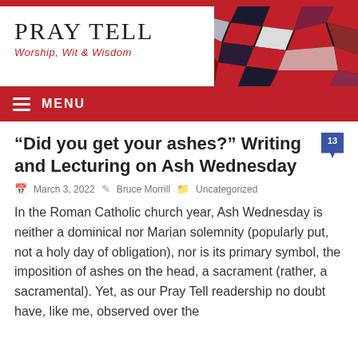[Figure (logo): Pray Tell blog header with stained glass decorative image on right]
PRAY TELL
Worship, Wit & Wisdom
MENU
“Did you get your ashes?” Writing and Lecturing on Ash Wednesday
March 3, 2022   Bruce Morrill   Uncategorized
In the Roman Catholic church year, Ash Wednesday is neither a dominical nor Marian solemnity (popularly put, not a holy day of obligation), nor is its primary symbol, the imposition of ashes on the head, a sacrament (rather, a sacramental). Yet, as our Pray Tell readership no doubt have, like me, observed over the